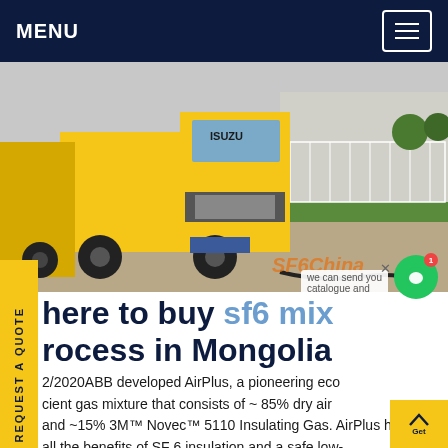MENU
[Figure (photo): Yellow Isuzu trucks on a paved outdoor area with green lawn and fence in background. SF6China watermark in orange bottom right.]
Where to buy sf6 mix process in Mongolia
2/2020ABB developed AirPlus, a pioneering eco cient gas mixture that consists of ~ 85% dry air and ~15% 3M™ Novec™ 5110 Insulating Gas. AirPlus has all the benefits of SF 6 insulation and a safe low-pressure design – all with a GWP of less than one price.